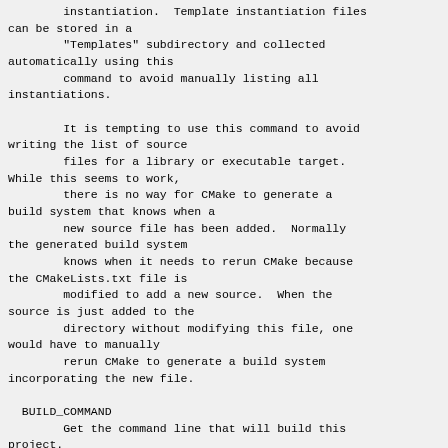instantiation.  Template instantiation files can be stored in a
        "Templates" subdirectory and collected automatically using this
        command to avoid manually listing all instantiations.
It is tempting to use this command to avoid writing the list of source
        files for a library or executable target.  While this seems to work,
        there is no way for CMake to generate a build system that knows when a
        new source file has been added.  Normally the generated build system
        knows when it needs to rerun CMake because the CMakeLists.txt file is
        modified to add a new source.  When the source is just added to the
        directory without modifying this file, one would have to manually
        rerun CMake to generate a build system incorporating the new file.
BUILD_COMMAND
        Get the command line that will build this project.
BUILD_COMMAND(variable MAKECOMMAND)
Sets the given variable to a string containing the command that will